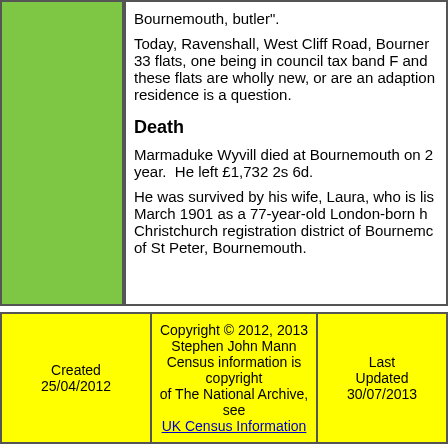Bournemouth, butler".
Today, Ravenshall, West Cliff Road, Bournemouth, has 33 flats, one being in council tax band F and these flats are wholly new, or are an adaption of the residence is a question.
Death
Marmaduke Wyvill died at Bournemouth on 2... year. He left £1,732 2s 6d.
He was survived by his wife, Laura, who is lis... March 1901 as a 77-year-old London-born h... Christchurch registration district of Bournemouth... of St Peter, Bournemouth.
| Created | Copyright | Last Updated |
| --- | --- | --- |
| Created
25/04/2012 | Copyright © 2012, 2013
Stephen John Mann
Census information is copyright of The National Archive, see
UK Census Information | Last
Updated
30/07/2013 |